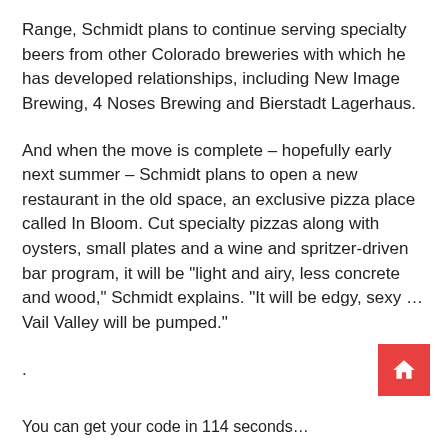Range, Schmidt plans to continue serving specialty beers from other Colorado breweries with which he has developed relationships, including New Image Brewing, 4 Noses Brewing and Bierstadt Lagerhaus.
And when the move is complete – hopefully early next summer – Schmidt plans to open a new restaurant in the old space, an exclusive pizza place called In Bloom. Cut specialty pizzas along with oysters, small plates and a wine and spritzer-driven bar program, it will be "light and airy, less concrete and wood," Schmidt explains. "It will be edgy, sexy … Vail Valley will be pumped."
.
You can get your code in 114 seconds…